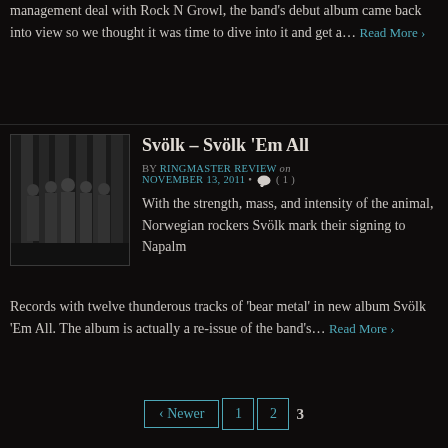management deal with Rock N Growl, the band's debut album came back into view so we thought it was time to dive into it and get a...
Read More ›
Svölk – Svölk ‘Em All
BY RINGMASTER REVIEW on NOVEMBER 13, 2011 • ( 1 )
[Figure (photo): Black and white photo of a band (several people) standing in front of stone columns]
With the strength, mass, and intensity of the animal, Norwegian rockers Svölk mark their signing to Napalm Records with twelve thunderous tracks of ‘bear metal’ in new album Svölk ‘Em All. The album is actually a re-issue of the band’s...
Read More ›
‹ Newer
1
2
3